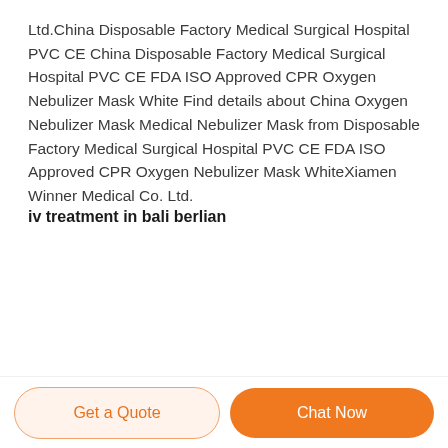Ltd.China Disposable Factory Medical Surgical Hospital PVC CE China Disposable Factory Medical Surgical Hospital PVC CE FDA ISO Approved CPR Oxygen Nebulizer Mask White Find details about China Oxygen Nebulizer Mask Medical Nebulizer Mask from Disposable Factory Medical Surgical Hospital PVC CE FDA ISO Approved CPR Oxygen Nebulizer Mask WhiteXiamen Winner Medical Co. Ltd.
iv treatment in bali berlian
Get a Quote | Chat Now